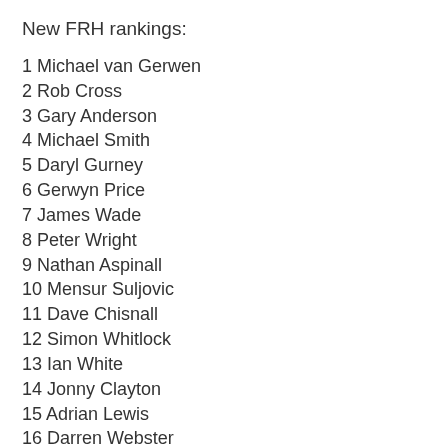New FRH rankings:
1 Michael van Gerwen
2 Rob Cross
3 Gary Anderson
4 Michael Smith
5 Daryl Gurney
6 Gerwyn Price
7 James Wade
8 Peter Wright
9 Nathan Aspinall
10 Mensur Suljovic
11 Dave Chisnall
12 Simon Whitlock
13 Ian White
14 Jonny Clayton
15 Adrian Lewis
16 Darren Webster
17 Joe Cullen
18 Stephen Bunting
19 Max Hopp (NEW)